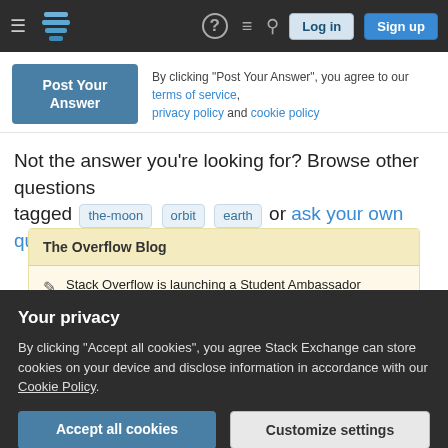Stack Exchange navigation bar with Log in and Sign up buttons
By clicking "Post Your Answer", you agree to our terms of service, privacy policy and cookie policy
Not the answer you're looking for? Browse other questions tagged the-moon orbit earth or ask your own question.
The Overflow Blog
Stack Overflow is launching a Student Ambassador program. Here's how to apply.
What companies lose when they track worker productivity
Your privacy
By clicking "Accept all cookies", you agree Stack Exchange can store cookies on your device and disclose information in accordance with our Cookie Policy.
Program